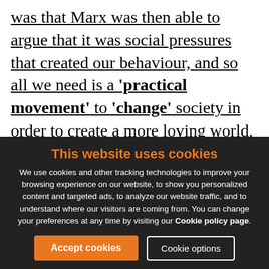was that Marx was then able to argue that it was social pressures that created our behaviour, and so all we need is a 'practical movement' to 'change' society in order to create a more loving world.
So yes, when biology stalled in a polarised state of disagreement, left-wing thinkers went back to Marx's thinking and repurposed it to achieve their mechanism for transforming the world into a more equitable and cooperative state
This website uses cookies
We use cookies and other tracking technologies to improve your browsing experience on our website, to show you personalized content and targeted ads, to analyze our website traffic, and to understand where our visitors are coming from. You can change your preferences at any time by visiting our Cookie policy page.